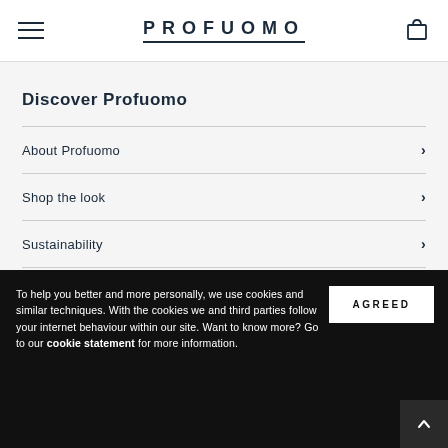PROFUOMO
Discover Profuomo
About Profuomo
Shop the look
Sustainability
Jobs
To help you better and more personally, we use cookies and similar techniques. With the cookies we and third parties follow your internet behaviour within our site. Want to know more? Go to our cookie statement for more information.